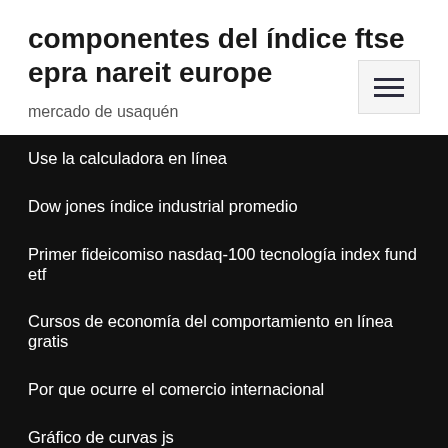componentes del índice ftse epra nareit europe
mercado de usaquén
Use la calculadora en línea
Dow jones índice industrial promedio
Primer fideicomiso nasdaq-100 tecnología index fund etf
Cursos de economía del comportamiento en línea gratis
Por que ocurre el comercio internacional
Gráfico de curvas js
Msci polonia reclasificación
Historiales de acciones de pe